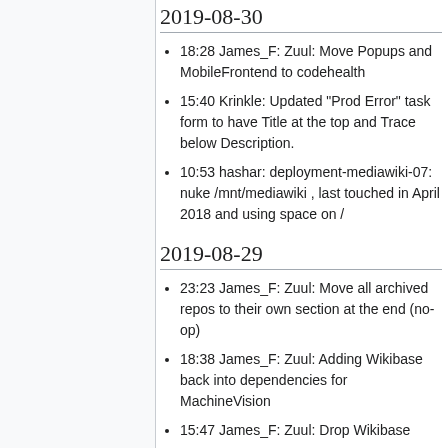2019-08-30
18:28 James_F: Zuul: Move Popups and MobileFrontend to codehealth
15:40 Krinkle: Updated "Prod Error" task form to have Title at the top and Trace below Description.
10:53 hashar: deployment-mediawiki-07: nuke /mnt/mediawiki , last touched in April 2018 and using space on /
2019-08-29
23:23 James_F: Zuul: Move all archived repos to their own section at the end (no-op)
18:38 James_F: Zuul: Adding Wikibase back into dependencies for MachineVision
15:47 James_F: Zuul: Drop Wikibase